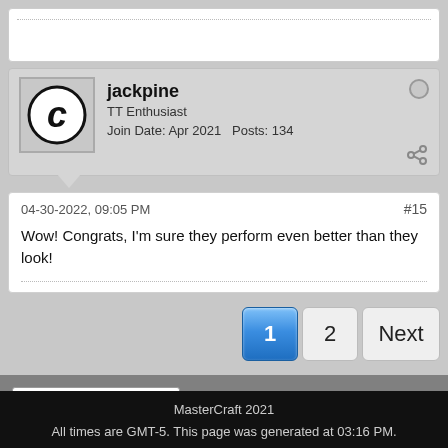jackpine
TT Enthusiast
Join Date: Apr 2021  Posts: 134
04-30-2022, 09:05 PM  #15
Wow! Congrats, I'm sure they perform even better than they look!
1  2  Next
English (US)
Go to...
MasterCraft 2021
All times are GMT-5. This page was generated at 03:16 PM.